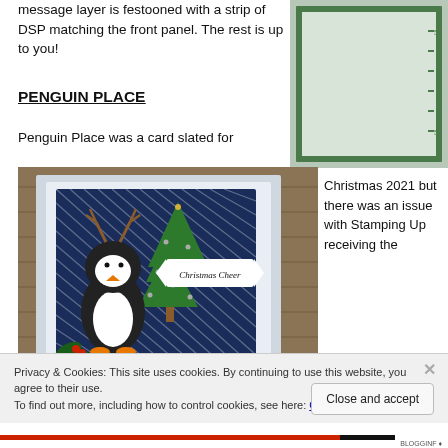message layer is festooned with a strip of DSP matching the front panel.  The rest is up to you!
PENGUIN PLACE
Penguin Place was a card slated for Christmas 2021 but there was an issue with Stamping Up receiving the
[Figure (photo): A handmade Christmas card featuring a penguin with antlers and a Christmas tree with 'Christmas Cheer' banner, on a navy blue diagonal striped background]
[Figure (photo): Close-up image of a green-bordered card panel]
Privacy & Cookies: This site uses cookies. By continuing to use this website, you agree to their use.
To find out more, including how to control cookies, see here: Cookie Policy
Close and accept